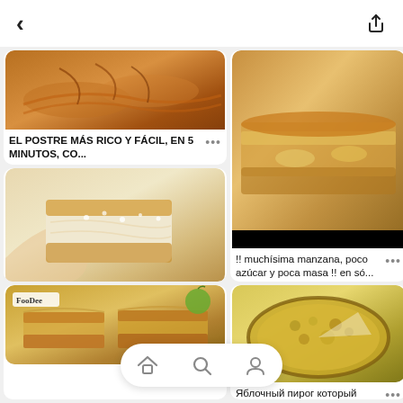< (back) and share icon
[Figure (photo): Apple pastry with caramel glaze and sliced apple toppings, with black bar at bottom]
EL POSTRE MÁS RICO Y FÁCIL, EN 5 MINUTOS, CO... •••
[Figure (photo): Hand holding a piece of powdered sugar-dusted apple cake (sharlotka)]
Идеальная Шарлотка с яблоками 🍎 Яблочный... •••
[Figure (photo): Baked apple tart with crumble topping from FooDee]
[Figure (photo): Thick apple cake slice showing fluffy interior with golden top]
!! muchísima manzana, poco azúcar y poca masa !! en só... •••
[Figure (photo): Round apple tart with crumb topping, slice removed]
Яблочный пирог который нравится всем! Просто и очен... •••